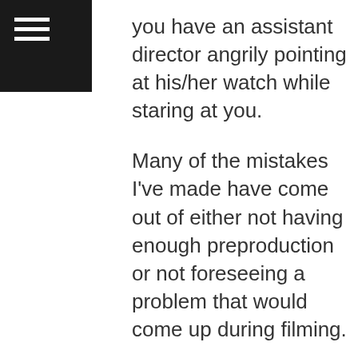[Figure (other): Black square with white hamburger menu icon (three horizontal lines) in the top-left corner]
you have an assistant director angrily pointing at his/her watch while staring at you.
Many of the mistakes I've made have come out of either not having enough preproduction or not foreseeing a problem that would come up during filming.
For example, years back we had to shoot a large night exterior on a road full of street lights. We weren't able to scout the location at night before the shoot and because I didn't call the city to check what types of lights they were, I assumed all the lamps would be the classic, orange sodium vapor bulbs. On the night of the shoot we had a condor set up with orange gels on the large tungsten lamps ready to